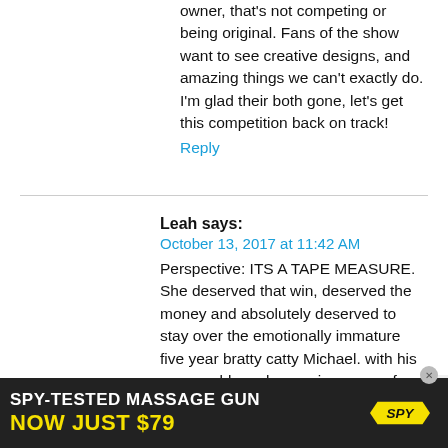owner, that's not competing or being original. Fans of the show want to see creative designs, and amazing things we can't exactly do. I'm glad their both gone, let's get this competition back on track!
Reply
Leah says:
October 13, 2017 at 11:42 AM
Perspective: ITS A TAPE MEASURE. She deserved that win, deserved the money and absolutely deserved to stay over the emotionally immature five year bratty catty Michael. with his unwearable embarrassing mess of fabric.
Reply
[Figure (infographic): Advertisement banner: SPY-TESTED MASSAGE GUN NOW JUST $79 with SPY logo in yellow on dark background]